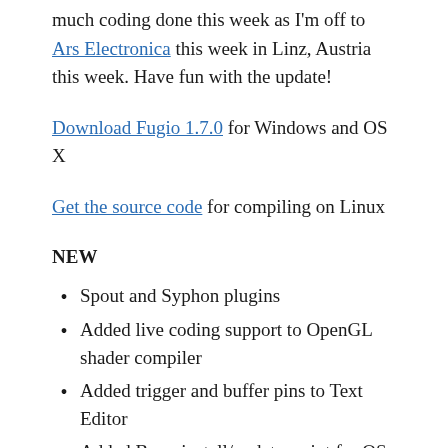much coding done this week as I'm off to Ars Electronica this week in Linz, Austria this week. Have fun with the update!
Download Fugio 1.7.0 for Windows and OS X
Get the source code for compiling on Linux
NEW
Spout and Syphon plugins
Added live coding support to OpenGL shader compiler
Added trigger and buffer pins to Text Editor
Added Brew install/update script for OS X
Added LuaVector3D